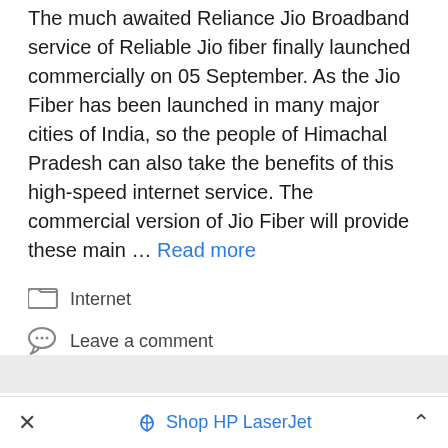The much awaited Reliance Jio Broadband service of Reliable Jio fiber finally launched commercially on 05 September. As the Jio Fiber has been launched in many major cities of India, so the people of Himachal Pradesh can also take the benefits of this high-speed internet service. The commercial version of Jio Fiber will provide these main … Read more
Internet
Leave a comment
Jio Fiber Broadband
× Shop HP LaserJet ^